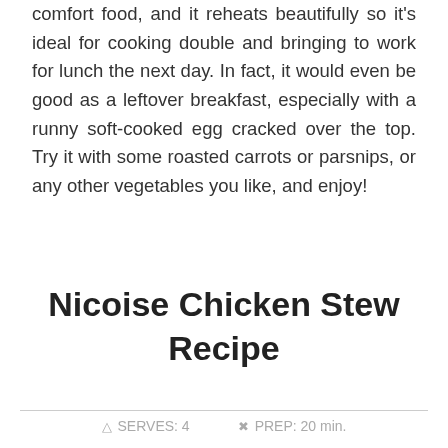comfort food, and it reheats beautifully so it's ideal for cooking double and bringing to work for lunch the next day. In fact, it would even be good as a leftover breakfast, especially with a runny soft-cooked egg cracked over the top. Try it with some roasted carrots or parsnips, or any other vegetables you like, and enjoy!
Nicoise Chicken Stew Recipe
SERVES: 4   PREP: 20 min.